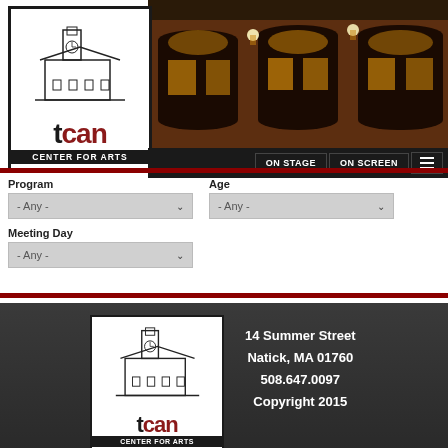[Figure (screenshot): TCAN Center for Arts website header with logo, building photo, and navigation bar with ON STAGE and ON SCREEN menu items]
[Figure (infographic): Search filter UI with Program, Age, and Meeting Day dropdowns all set to - Any -]
[Figure (logo): TCAN Center for Arts footer logo with address: 14 Summer Street, Natick, MA 01760, 508.647.0097, Copyright 2015]